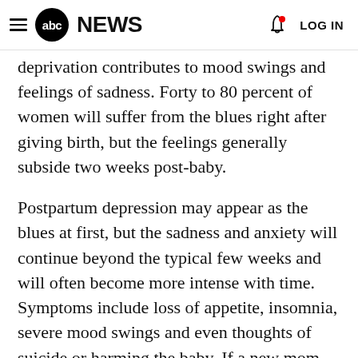≡ abc NEWS  🔔 LOG IN
deprivation contributes to mood swings and feelings of sadness. Forty to 80 percent of women will suffer from the blues right after giving birth, but the feelings generally subside two weeks post-baby.
Postpartum depression may appear as the blues at first, but the sadness and anxiety will continue beyond the typical few weeks and will often become more intense with time. Symptoms include loss of appetite, insomnia, severe mood swings and even thoughts of suicide or harming the baby. If a new mom suffers from the blues for several weeks after giving birth, Streicher said these women